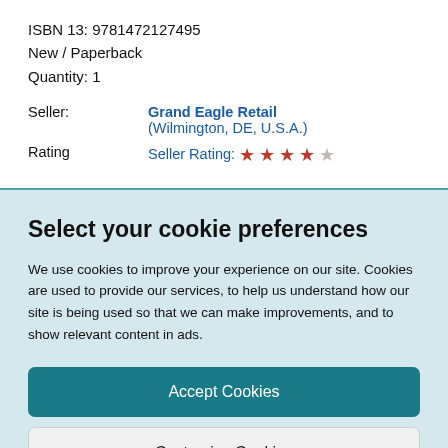ISBN 13: 9781472127495
New / Paperback
Quantity: 1
| Seller: | Grand Eagle Retail (Wilmington, DE, U.S.A.) |
| Rating | Seller Rating: ★★★★☆ |
Select your cookie preferences
We use cookies to improve your experience on our site. Cookies are used to provide our services, to help us understand how our site is being used so that we can make improvements, and to show relevant content in ads.
Accept Cookies
Customise Cookies